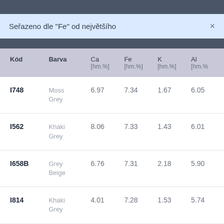Seřazeno dle "Fe" od největšího  ×
| Kód | Barva | Ca [hm.%] | Fe [hm.%] | K [hm.%] | Al [hm.%] |
| --- | --- | --- | --- | --- | --- |
| I748 | Moss Grey | 6.97 | 7.34 | 1.67 | 6.05 |
| I562 | Khaki Grey | 8.06 | 7.33 | 1.43 | 6.01 |
| I658B | Grey Beige | 6.76 | 7.31 | 2.18 | 5.90 |
| I814 | Khaki Grey | 4.01 | 7.28 | 1.53 | 5.74 |